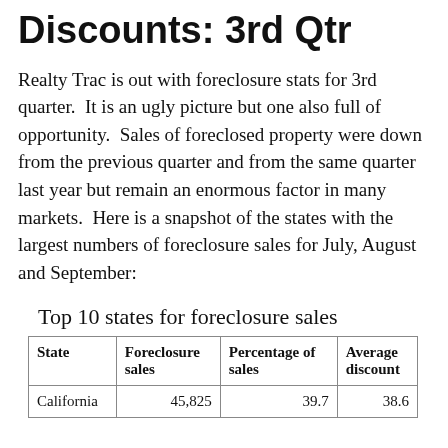Discounts: 3rd Qtr
Realty Trac is out with foreclosure stats for 3rd quarter.  It is an ugly picture but one also full of opportunity.  Sales of foreclosed property were down from the previous quarter and from the same quarter last year but remain an enormous factor in many markets.  Here is a snapshot of the states with the largest numbers of foreclosure sales for July, August and September:
Top 10 states for foreclosure sales
| State | Foreclosure sales | Percentage of sales | Average discount |
| --- | --- | --- | --- |
| California | 45,825 | 39.7 | 38.6 |